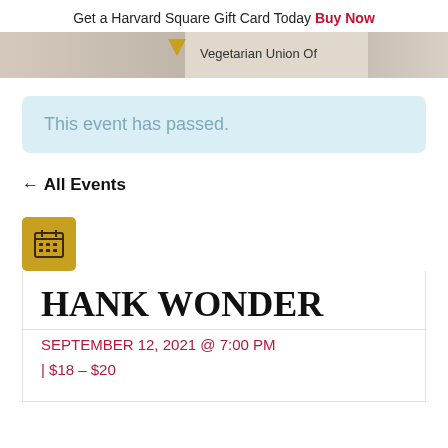Get a Harvard Square Gift Card Today Buy Now
[Figure (screenshot): Partial map strip showing a location pin and text 'Vegetarian Union Of']
This event has passed.
← All Events
[Figure (illustration): Calendar icon in a golden/yellow square]
HANK WONDER
SEPTEMBER 12, 2021 @ 7:00 PM | $18 – $20